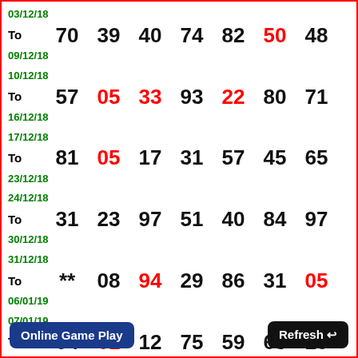| Date Range | N1 | N2 | N3 | N4 | N5 | N6 | N7 |
| --- | --- | --- | --- | --- | --- | --- | --- |
| 03/12/18 To 09/12/18 | 70 | 39 | 40 | 74 | 82 | 50 | 48 |
| 10/12/18 To 16/12/18 | 57 | 05 | 33 | 93 | 22 | 80 | 71 |
| 17/12/18 To 23/12/18 | 81 | 05 | 17 | 31 | 57 | 45 | 65 |
| 24/12/18 To 30/12/18 | 31 | 23 | 97 | 51 | 40 | 84 | 97 |
| 31/12/18 To 06/01/19 | ** | 08 | 94 | 29 | 86 | 31 | 05 |
| 07/01/19 To 13/01/19 | 04 | 61 | 12 | 75 | 59 | 63 | 10 |